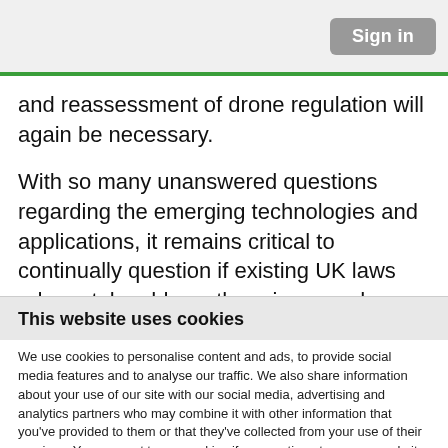Sign in
and reassessment of drone regulation will again be necessary.
With so many unanswered questions regarding the emerging technologies and applications, it remains critical to continually question if existing UK laws adequately address the privacy and surveillance
This website uses cookies
We use cookies to personalise content and ads, to provide social media features and to analyse our traffic. We also share information about your use of our site with our social media, advertising and analytics partners who may combine it with other information that you've provided to them or that they've collected from your use of their services. You consent to our cookies if you continue to use our website.
OK
Necessary  Preferences  Statistics  Marketing  Show details